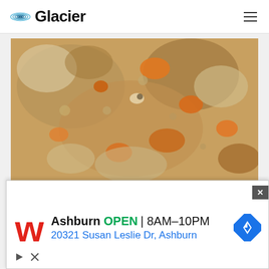Glacier
[Figure (photo): Close-up of cooking pot with bubbling orange and brown mixture — possibly a stew or broth with carrots and other vegetables simmering]
Stir and set aside. We cut the tarragon leaves into small pieces and throw them in the pot. Optionally you can put dried dill leaves (I like it that way). Garlic passed
[Figure (infographic): Advertisement for Walgreens pharmacy in Ashburn: OPEN 8AM-10PM, 20321 Susan Leslie Dr, Ashburn]